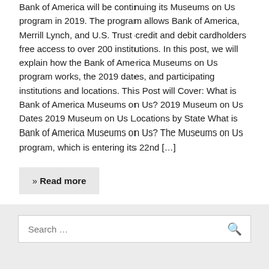Bank of America will be continuing its Museums on Us program in 2019. The program allows Bank of America, Merrill Lynch, and U.S. Trust credit and debit cardholders free access to over 200 institutions. In this post, we will explain how the Bank of America Museums on Us program works, the 2019 dates, and participating institutions and locations. This Post will Cover: What is Bank of America Museums on Us? 2019 Museum on Us Dates 2019 Museum on Us Locations by State What is Bank of America Museums on Us? The Museums on Us program, which is entering its 22nd […]
» Read more